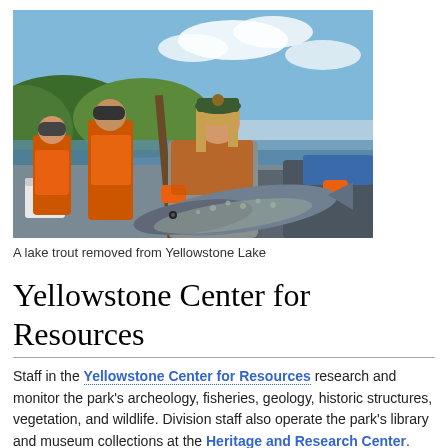[Figure (photo): A park ranger in NPS uniform holding a large lake trout on a boat, with two other crew members in orange waders standing in the background on Yellowstone Lake.]
A lake trout removed from Yellowstone Lake
Yellowstone Center for Resources
Staff in the Yellowstone Center for Resources research and monitor the park's archeology, fisheries, geology, historic structures, vegetation, and wildlife. Division staff also operate the park's library and museum collections at the Heritage and Research Center.